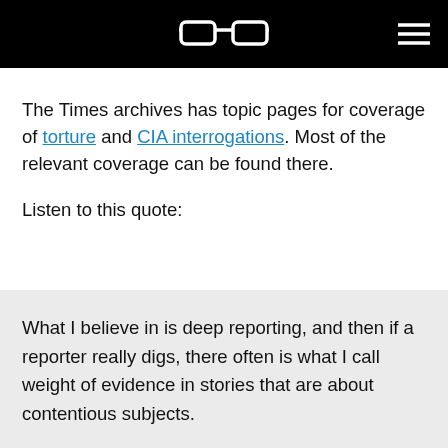[logo: eyeglasses icon] [hamburger menu]
The Times archives has topic pages for coverage of torture and CIA interrogations. Most of the relevant coverage can be found there.
Listen to this quote:
What I believe in is deep reporting, and then if a reporter really digs, there often is what I call weight of evidence in stories that are about contentious subjects.